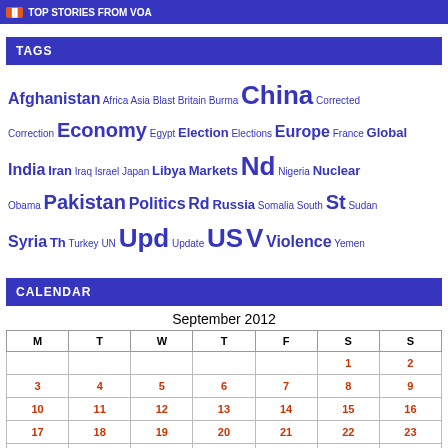TOP STORIES FROM VOA
TAGS
Afghanistan Africa Asia Blast Britain Burma China Corrected Correction Economy Egypt Election Elections Europe France Global India Iran Iraq Israel Japan Libya Markets Nd Nigeria Nuclear Obama Pakistan Politics Rd Russia Somalia South St Sudan Syria Th Turkey UN Upd Update US V Violence Yemen
CALENDAR
September 2012
| M | T | W | T | F | S | S |
| --- | --- | --- | --- | --- | --- | --- |
|  |  |  |  |  | 1 | 2 |
| 3 | 4 | 5 | 6 | 7 | 8 | 9 |
| 10 | 11 | 12 | 13 | 14 | 15 | 16 |
| 17 | 18 | 19 | 20 | 21 | 22 | 23 |
| 24 | 25 | 26 | 27 | 28 | 29 | 30 |